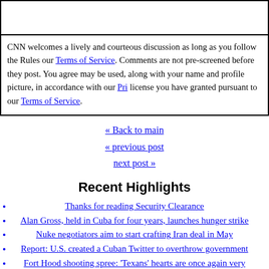CNN welcomes a lively and courteous discussion as long as you follow the Rules our Terms of Service. Comments are not pre-screened before they post. You agree may be used, along with your name and profile picture, in accordance with our Pri license you have granted pursuant to our Terms of Service.
« Back to main
« previous post
next post »
Recent Highlights
Thanks for reading Security Clearance
Alan Gross, held in Cuba for four years, launches hunger strike
Nuke negotiators aim to start crafting Iran deal in May
Report: U.S. created a Cuban Twitter to overthrow government
Fort Hood shooting spree: 'Texans' hearts are once again very heavy'